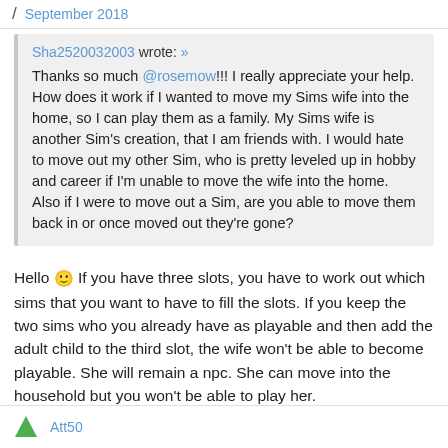September 2018
Sha2520032003 wrote: »
Thanks so much @rosemow!!! I really appreciate your help. How does it work if I wanted to move my Sims wife into the home, so I can play them as a family. My Sims wife is another Sim's creation, that I am friends with. I would hate to move out my other Sim, who is pretty leveled up in hobby and career if I'm unable to move the wife into the home. Also if I were to move out a Sim, are you able to move them back in or once moved out they're gone?
Hello 🙂 If you have three slots, you have to work out which sims that you want to have to fill the slots. If you keep the two sims who you already have as playable and then add the adult child to the third slot, the wife won't be able to become playable. She will remain a npc. She can move into the household but you won't be able to play her.
Att50